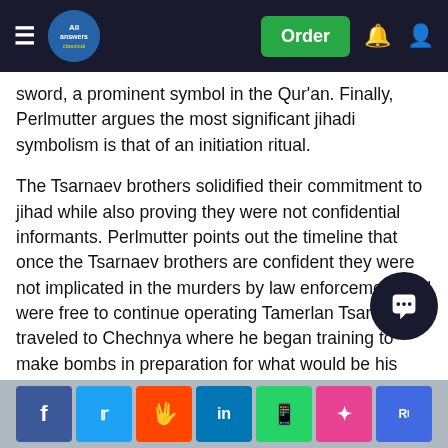All Answers — navigation bar with Order button
sword, a prominent symbol in the Qur'an. Finally, Perlmutter argues the most significant jihadi symbolism is that of an initiation ritual.
The Tsarnaev brothers solidified their commitment to jihad while also proving they were not confidential informants. Perlmutter points out the timeline that once the Tsarnaev brothers are confident they were not implicated in the murders by law enforcement and were free to continue operating Tamerlan Tsarnaev traveled to Chechnya where he began training to make bombs in preparation for what would be his suicide mission in Boston (Perlmutter, 2013).
As of April 2018, according to news reporting by WGBH radio outlet, this triple murder investigation is still considered by the Middlesex County District Attorney's Office as a… (Perlmutter, WGBH, 2018). At this time…